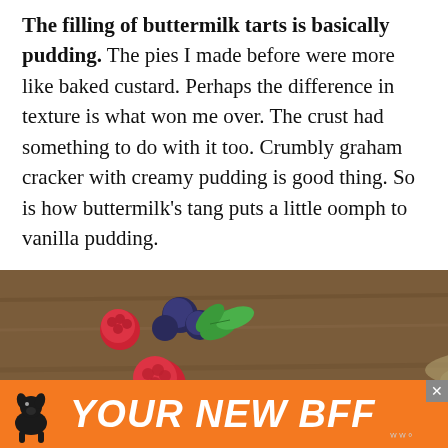The filling of buttermilk tarts is basically pudding. The pies I made before were more like baked custard. Perhaps the difference in texture is what won me over. The crust had something to do with it too. Crumbly graham cracker with creamy pudding is good thing. So is how buttermilk's tang puts a little oomph to vanilla pudding.
[Figure (photo): Close-up photo of buttermilk tarts topped with fresh raspberries, blueberries, blackberries and mint leaves in small pie dishes on a wooden surface]
[Figure (photo): Advertisement banner with orange background showing a black dog silhouette and text 'YOUR NEW BFF' in bold white italic letters with a close button]